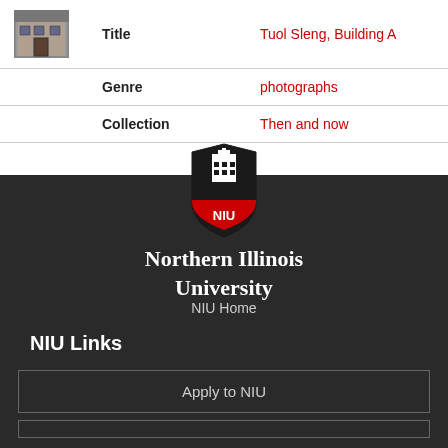|  | Field | Value |
| --- | --- | --- |
| [photo] | Title | Tuol Sleng, Building A |
|  | Genre | photographs |
|  | Collection | Then and now |
[Figure (logo): Northern Illinois University shield logo with NIU text in red band]
Northern Illinois University
NIU Home
NIU Links
Apply to NIU